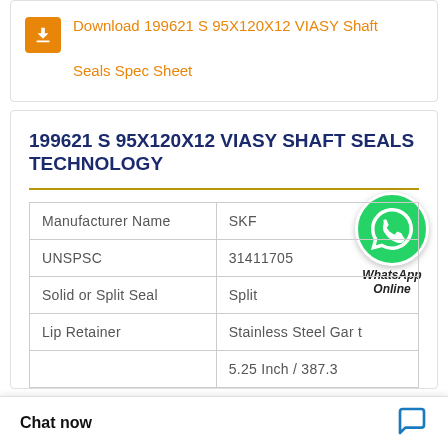Download 199621 S 95X120X12 VIASY Shaft Seals Spec Sheet
199621 S 95X120X12 VIASY SHAFT SEALS TECHNOLOGY
| Property | Value |
| --- | --- |
| Manufacturer Name | SKF |
| UNSPSC | 31411705 |
| Solid or Split Seal | Split |
| Lip Retainer | Stainless Steel Gar t |
|  | 5.25 Inch / 387.3 |
Chat now